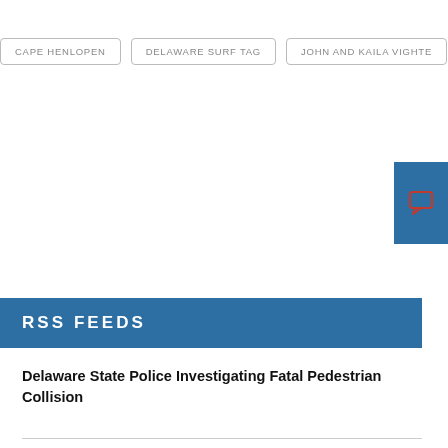CAPE HENLOPEN
DELAWARE SURF TAG
JOHN AND KAILA VIGHTE
RSS FEEDS
Delaware State Police Investigating Fatal Pedestrian Collision